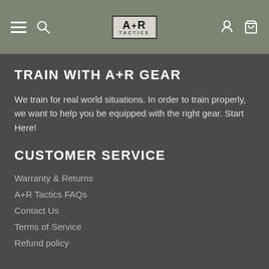A+R Tactics navigation bar with hamburger menu, search, logo, account, and cart icons
TRAIN WITH A+R GEAR
We train for real world situations. In order to train properly, we want to help you be equipped with the right gear. Start Here!
CUSTOMER SERVICE
Warranty & Returns
A+R Tactics FAQs
Contact Us
Terms of Service
Refund policy